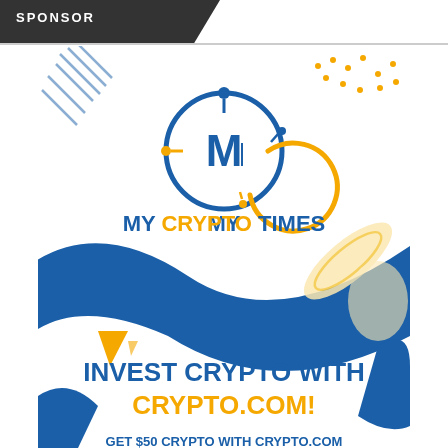SPONSOR
[Figure (logo): My Crypto Times advertisement banner featuring the My Crypto Times logo (circular blue and gold design with letter M), decorative blue wave and gold geometric shapes, text 'INVEST CRYPTO WITH CRYPTO.COM!' and 'GET $50 CRYPTO WITH CRYPTO.COM']